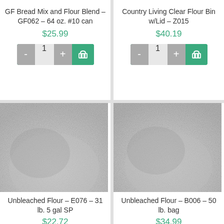GF Bread Mix and Flour Blend – GF062 – 64 oz. #10 can
$25.99
Country Living Clear Flour Bin w/Lid – Z015
$40.19
[Figure (photo): Close-up photo of white flour powder, left product]
Unbleached Flour – E076 – 31 lb. 5 gal SP
[Figure (photo): Close-up photo of white flour powder, right product]
Unbleached Flour – B006 – 50 lb. bag